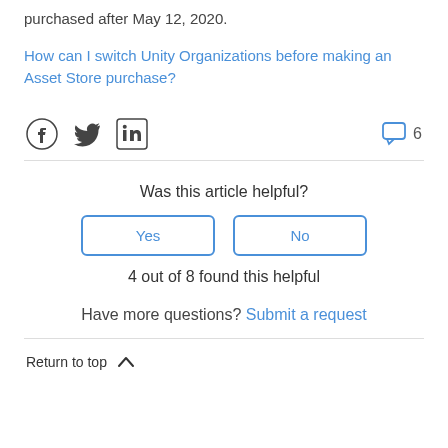purchased after May 12, 2020.
How can I switch Unity Organizations before making an Asset Store purchase?
[Figure (other): Social media icons: Facebook, Twitter, LinkedIn, and a comment icon with count 6]
Was this article helpful?
Yes
No
4 out of 8 found this helpful
Have more questions? Submit a request
Return to top